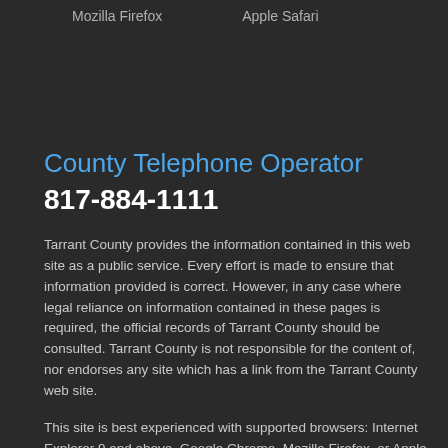Mozilla Firefox    Apple Safari
County Telephone Operator
817-884-1111
Tarrant County provides the information contained in this web site as a public service. Every effort is made to ensure that information provided is correct. However, in any case where legal reliance on information contained in these pages is required, the official records of Tarrant County should be consulted. Tarrant County is not responsible for the content of, nor endorses any site which has a link from the Tarrant County web site.
This site is best experienced with supported browsers: Internet Explorer 9 and above, Google Chrome, Mozilla Firefox, or Apple Safari. If you use an older or unsupported browser, you might notice that some